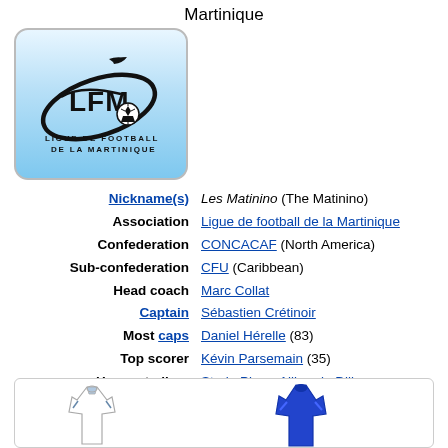Martinique
[Figure (logo): Ligue de Football de la Martinique logo — LFM text with football and swoosh on light blue background]
| Field | Value |
| --- | --- |
| Nickname(s) | Les Matinino (The Matinino) |
| Association | Ligue de football de la Martinique |
| Confederation | CONCACAF (North America) |
| Sub-confederation | CFU (Caribbean) |
| Head coach | Marc Collat |
| Captain | Sébastien Crétinoir |
| Most caps | Daniel Hérelle (83) |
| Top scorer | Kévin Parsemain (35) |
| Home stadium | Stade Pierre Aliker de Dillon |
| FIFA code | MTQ |
[Figure (illustration): Two football kit illustrations — white kit (left) and blue kit (right)]